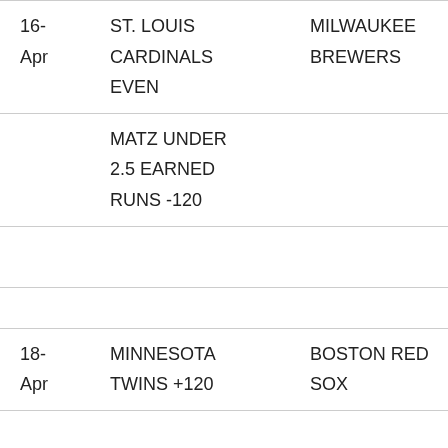| Date | Team/Bet | Opponent | Score |
| --- | --- | --- | --- |
| 16-Apr | ST. LOUIS CARDINALS EVEN | MILWAUKEE BREWERS |  |
|  | MATZ UNDER 2.5 EARNED RUNS -120 |  |  |
| 18-Apr | MINNESOTA TWINS +120 | BOSTON RED SOX | 8-- |